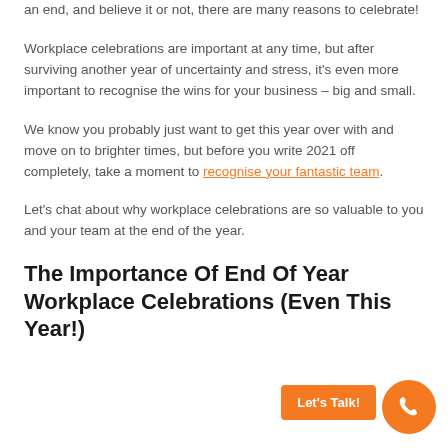an end, and believe it or not, there are many reasons to celebrate!
Workplace celebrations are important at any time, but after surviving another year of uncertainty and stress, it’s even more important to recognise the wins for your business – big and small.
We know you probably just want to get this year over with and move on to brighter times, but before you write 2021 off completely, take a moment to recognise your fantastic team.
Let’s chat about why workplace celebrations are so valuable to you and your team at the end of the year.
The Importance Of End Of Year Workplace Celebrations (Even This Year!)